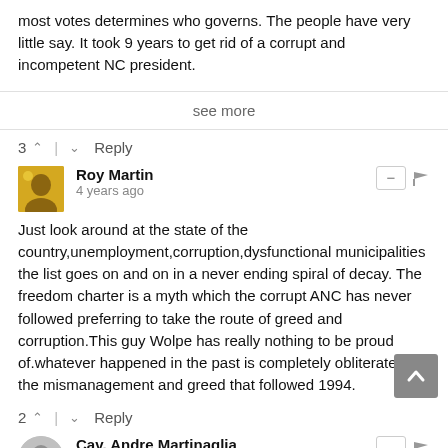most votes determines who governs. The people have very little say. It took 9 years to get rid of a corrupt and incompetent NC president.
see more
3 ^ | v Reply
Roy Martin
4 years ago
Just look around at the state of the country,unemployment,corruption,dysfunctional municipalities the list goes on and on in a never ending spiral of decay. The freedom charter is a myth which the corrupt ANC has never followed preferring to take the route of greed and corruption.This guy Wolpe has really nothing to be proud of.whatever happened in the past is completely obliterated by the mismanagement and greed that followed 1994.
2 ^ | v Reply
Cav. Andre Martinaglia
a year ago
Their fate was sealed when Klaus Schroeder after no...